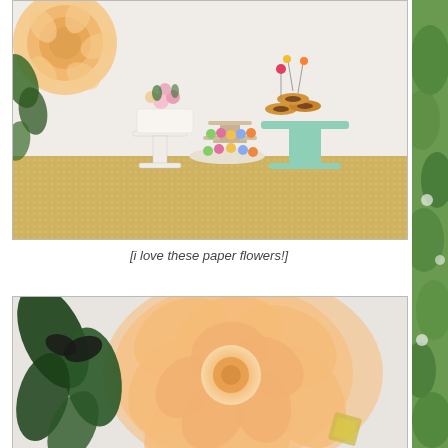[Figure (photo): Dessert table with mint green cake stand holding donuts topped with colorful flower picks, white cake stand with floral arrangement, tiered stand with macarons, gold sequin tablecloth, large peach paper flower in upper left corner]
[i love these paper flowers!]
[Figure (photo): Close-up of a large peach/apricot paper flower with ruffled petals against a light background, with dark green leaves visible on the left side]
[Figure (photo): Right side strip showing outdoor greenery/foliage, blurred background with white flowers]